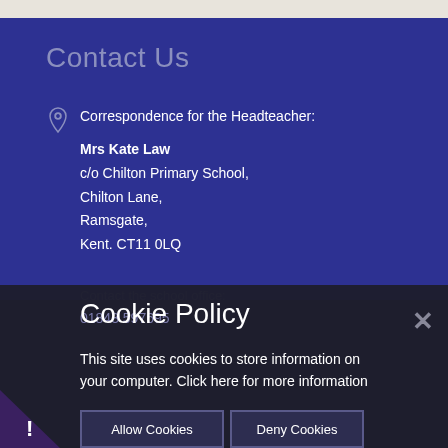Contact Us
Correspondence for the Headteacher:
Mrs Kate Law
c/o Chilton Primary School,
Chilton Lane,
Ramsgate,
Kent. CT11 0LQ
Contact the school office:
01843 597695
Cookie Policy
This site uses cookies to store information on your computer. Click here for more information
Allow Cookies
Deny Cookies